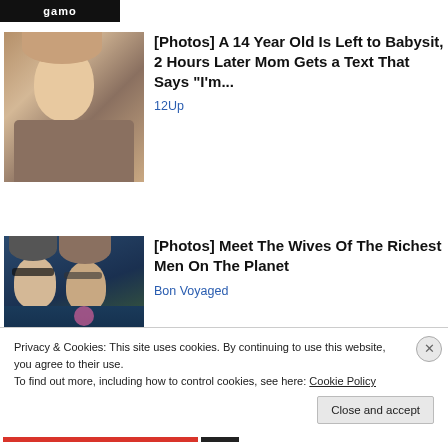[Figure (logo): Website logo bar with white text 'gamo' on black background]
[Figure (photo): Photo of a young teenage girl with long blonde hair]
[Photos] A 14 Year Old Is Left to Babysit, 2 Hours Later Mom Gets a Text That Says "I'm..."
12Up
[Figure (photo): Photo of a man in suit with sunglasses and a woman with sunglasses]
[Photos] Meet The Wives Of The Richest Men On The Planet
Bon Voyaged
Privacy & Cookies: This site uses cookies. By continuing to use this website, you agree to their use.
To find out more, including how to control cookies, see here: Cookie Policy
Close and accept